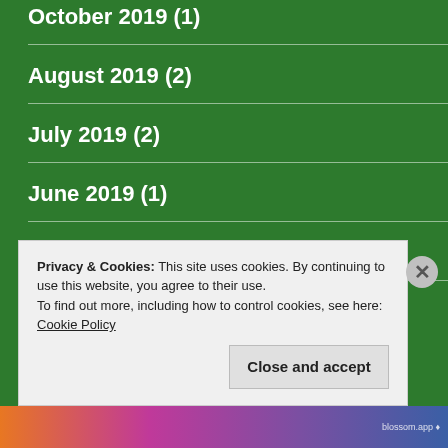October 2019 (1)
August 2019 (2)
July 2019 (2)
June 2019 (1)
May 2019 (3)
April 2019 (1)
Privacy & Cookies: This site uses cookies. By continuing to use this website, you agree to their use.
To find out more, including how to control cookies, see here: Cookie Policy
Close and accept